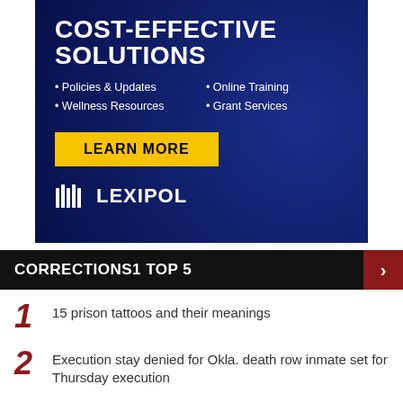[Figure (other): Lexipol advertisement banner with dark blue background showing 'COST-EFFECTIVE SOLUTIONS' heading, bullet points for Policies & Updates, Wellness Resources, Online Training, Grant Services, a yellow LEARN MORE button, and the Lexipol logo]
CORRECTIONS1 TOP 5
15 prison tattoos and their meanings
Execution stay denied for Okla. death row inmate set for Thursday execution
Rikers Island inmate stabs CO in neck